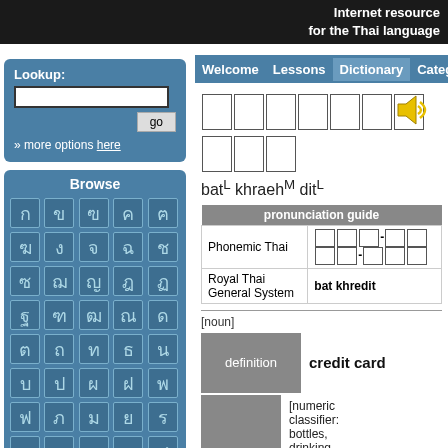Internet resource
for the Thai language
Lookup:
» more options here
Browse
Welcome Lessons Dictionary Categories Ref
บัตรเครดิต (Thai characters in boxes)
batL khraehM ditL
| pronunciation guide |  |
| --- | --- |
| Phonemic Thai | บัด-แคร-ดิด (boxes) |
| Royal Thai General System | bat khredit |
[noun]
definition
credit card
[numeric classifier: bottles, drinking glasses, backpacks, money,